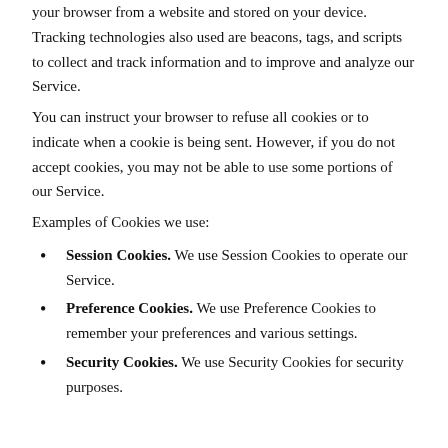your browser from a website and stored on your device. Tracking technologies also used are beacons, tags, and scripts to collect and track information and to improve and analyze our Service.
You can instruct your browser to refuse all cookies or to indicate when a cookie is being sent. However, if you do not accept cookies, you may not be able to use some portions of our Service.
Examples of Cookies we use:
Session Cookies. We use Session Cookies to operate our Service.
Preference Cookies. We use Preference Cookies to remember your preferences and various settings.
Security Cookies. We use Security Cookies for security purposes.